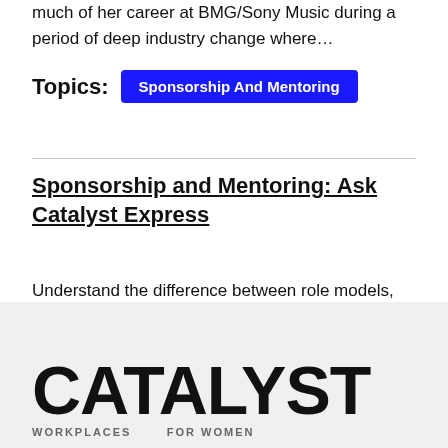much of her career at BMG/Sony Music during a period of deep industry change where…
Topics:
Sponsorship And Mentoring
Sponsorship and Mentoring: Ask Catalyst Express
Understand the difference between role models, coaches, mentors, and sponsors with data and resources on mentorship and sponsoring women in organizations.
CATALYST